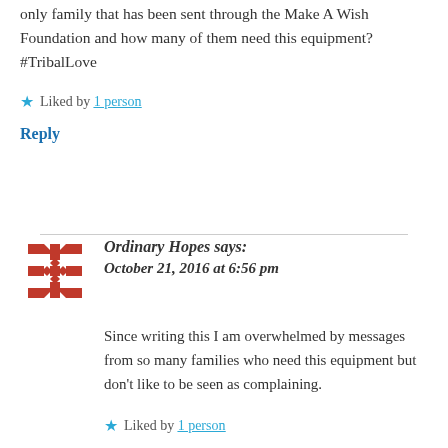only family that has been sent through the Make A Wish Foundation and how many of them need this equipment? #TribalLove
Liked by 1 person
Reply
Ordinary Hopes says: October 21, 2016 at 6:56 pm
Since writing this I am overwhelmed by messages from so many families who need this equipment but don’t like to be seen as complaining.
Liked by 1 person